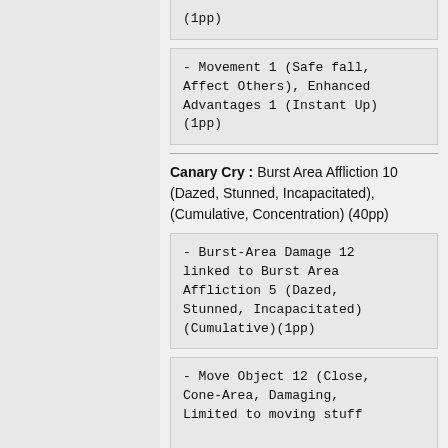(1pp)
- Movement 1 (Safe fall, Affect Others), Enhanced Advantages 1 (Instant Up) (1pp)
Canary Cry : Burst Area Affliction 10 (Dazed, Stunned, Incapacitated), (Cumulative, Concentration) (40pp)
- Burst-Area Damage 12 linked to Burst Area Affliction 5 (Dazed, Stunned, Incapacitated) (Cumulative)(1pp)
- Move Object 12 (Close, Cone-Area, Damaging, Limited to moving stuff